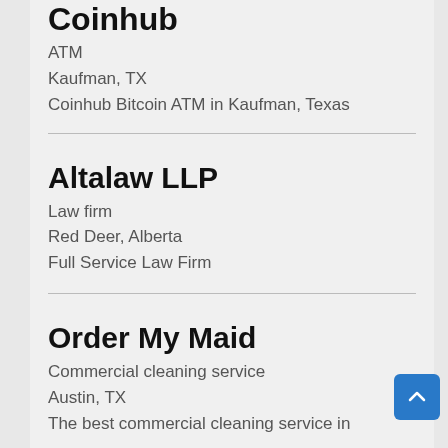Coinhub
ATM
Kaufman, TX
Coinhub Bitcoin ATM in Kaufman, Texas
Altalaw LLP
Law firm
Red Deer, Alberta
Full Service Law Firm
Order My Maid
Commercial cleaning service
Austin, TX
The best commercial cleaning service in